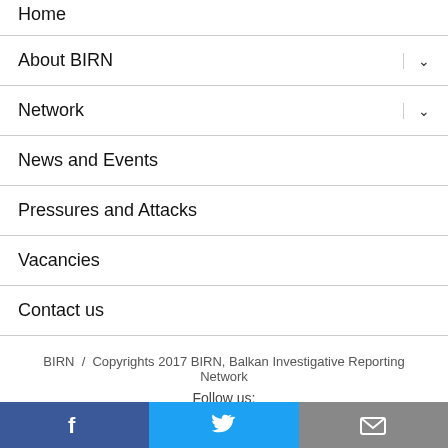Home
About BIRN
Network
News and Events
Pressures and Attacks
Vacancies
Contact us
BIRN / Copyrights 2017 BIRN, Balkan Investigative Reporting Network
Follow us: